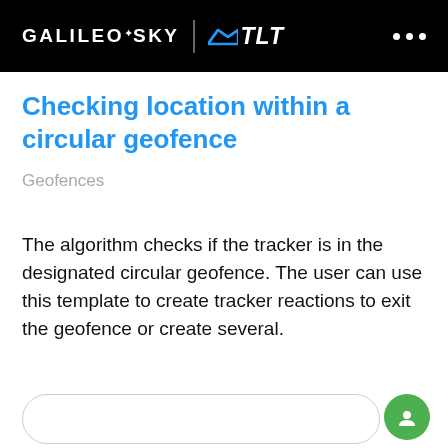GALILEOSKY | TLT
Checking location within a circular geofence
Geofences
The algorithm checks if the tracker is in the designated circular geofence. The user can use this template to create tracker reactions to exit the geofence or create several.